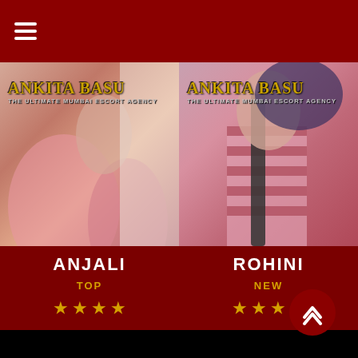≡ (hamburger menu)
[Figure (photo): Photo of a woman in pink attire with Ankita Basu - The Ultimate Mumbai Escort Agency branding overlay. Card shows name ANJALI, badge TOP, and 4 gold stars.]
[Figure (photo): Photo of a woman in pink striped outfit with Ankita Basu - The Ultimate Mumbai Escort Agency branding overlay. Card shows name ROHINI, badge NEW, and 4 gold stars.]